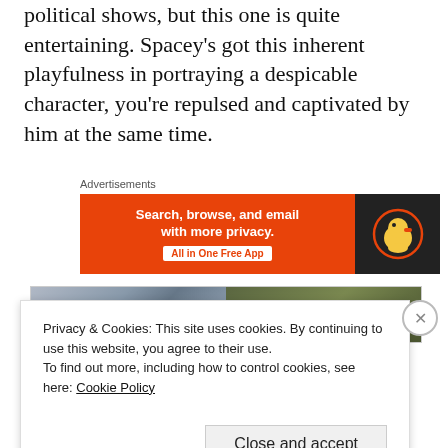political shows, but this one is quite entertaining. Spacey's got this inherent playfulness in portraying a despicable character, you're repulsed and captivated by him at the same time.
[Figure (screenshot): DuckDuckGo advertisement banner: orange left panel with text 'Search, browse, and email with more privacy. All in One Free App', dark right panel with DuckDuckGo duck logo]
[Figure (photo): Two side-by-side photos partially visible at the top portion behind cookie banner]
Privacy & Cookies: This site uses cookies. By continuing to use this website, you agree to their use.
To find out more, including how to control cookies, see here: Cookie Policy
Close and accept